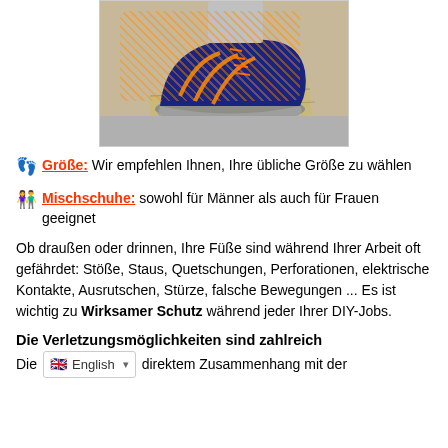[Figure (photo): A blue and orange athletic/safety shoe on rocky ground, photographed from the side at an angle.]
👣 Größe: Wir empfehlen Ihnen, Ihre übliche Größe zu wählen
👫 Mischschuhe: sowohl für Männer als auch für Frauen geeignet
Ob draußen oder drinnen, Ihre Füße sind während Ihrer Arbeit oft gefährdet: Stöße, Staus, Quetschungen, Perforationen, elektrische Kontakte, Ausrutschen, Stürze, falsche Bewegungen ... Es ist wichtig zu Wirksamer Schutz während jeder Ihrer DIY-Jobs.
Die Verletzungsmöglichkeiten sind zahlreich
Die [English dropdown] direktem Zusammenhang mit der